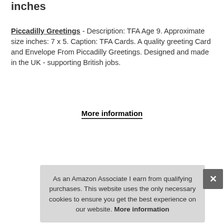inches
Piccadilly Greetings - Description: TFA Age 9. Approximate size inches: 7 x 5. Caption: TFA Cards. A quality greeting Card and Envelope From Piccadilly Greetings. Designed and made in the UK - supporting British jobs.
More information
|  |  |
| --- | --- |
| Brand | Piccadilly Greetings |
| Manufacturer | Piccadilly Greetings Group Ltd |
|  |  |
|  |  |
| Part Number | 105369 |
As an Amazon Associate I earn from qualifying purchases. This website uses the only necessary cookies to ensure you get the best experience on our website. More information